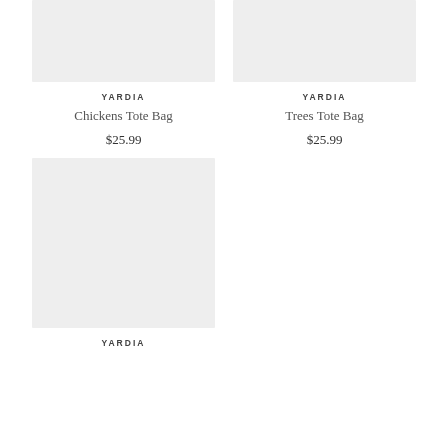[Figure (photo): Product image placeholder for Chickens Tote Bag, light gray rectangle]
[Figure (photo): Product image placeholder for Trees Tote Bag, light gray rectangle]
YARDIA
Chickens Tote Bag
$25.99
YARDIA
Trees Tote Bag
$25.99
[Figure (photo): Product image placeholder for third item, light gray rectangle]
YARDIA